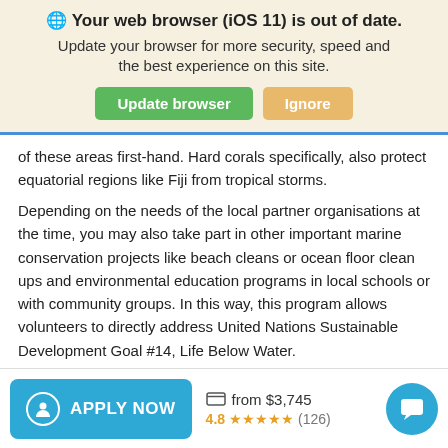Your web browser (iOS 11) is out of date. Update your browser for more security, speed and the best experience on this site.
of these areas first-hand. Hard corals specifically, also protect equatorial regions like Fiji from tropical storms.
Depending on the needs of the local partner organisations at the time, you may also take part in other important marine conservation projects like beach cleans or ocean floor clean ups and environmental education programs in local schools or with community groups. In this way, this program allows volunteers to directly address United Nations Sustainable Development Goal #14, Life Below Water.
Other threats to coral reefs include unsustainable fishing
APPLY NOW
from $3,745
4.8 ★★★★★ (126)